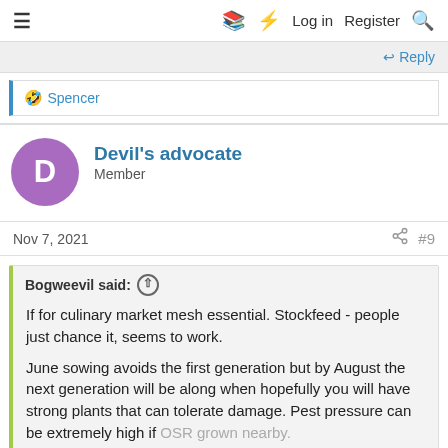≡  □ ⚡ Log in  Register  🔍
↩ Reply
🤣 Spencer
Devil's advocate
Member
Nov 7, 2021   #9
Bogweevil said: ↑
If for culinary market mesh essential. Stockfeed - people just chance it, seems to work.

June sowing avoids the first generation but by August the next generation will be along when hopefully you will have strong plants that can tolerate damage. Pest pressure can be extremely high if OSR grown nearby.

Click to expand...